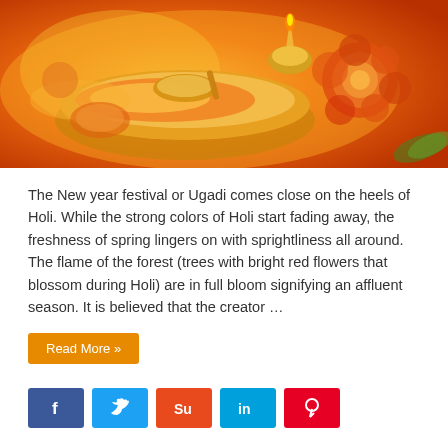[Figure (photo): Orange and marigold festival items in a golden plate, Holi/Ugadi festival themed image with warm orange tones]
The New year festival or Ugadi comes close on the heels of Holi. While the strong colors of Holi start fading away, the freshness of spring lingers on with sprightliness all around. The flame of the forest (trees with bright red flowers that blossom during Holi) are in full bloom signifying an affluent season. It is believed that the creator …
Read More »
[Figure (infographic): Social share buttons: Facebook (blue), Twitter (light blue), StumbleUpon (red), LinkedIn (light blue), Pinterest (red)]
Gudi Padwa Hindu Festival Information
4to40.com   March 27, 2022   Indian Festivals   16,911